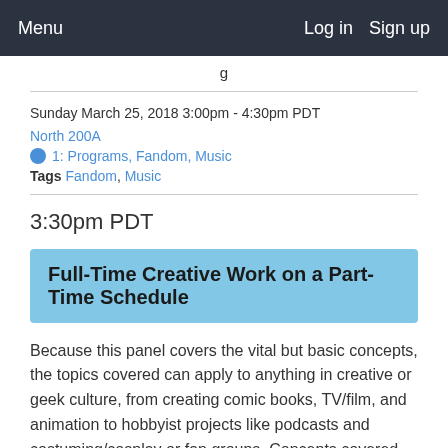Menu  Log in  Sign up
g
Sunday March 25, 2018 3:00pm - 4:30pm PDT
North 200A
1: Programs, Fandom, Music
Tags Fandom, Music
3:30pm PDT
Full-Time Creative Work on a Part-Time Schedule
Because this panel covers the vital but basic concepts, the topics covered can apply to anything in creative or geek culture, from creating comic books, TV/film, and animation to hobbyist projects like podcasts and costuming/cosplay or fan groups. Concepts covered include group